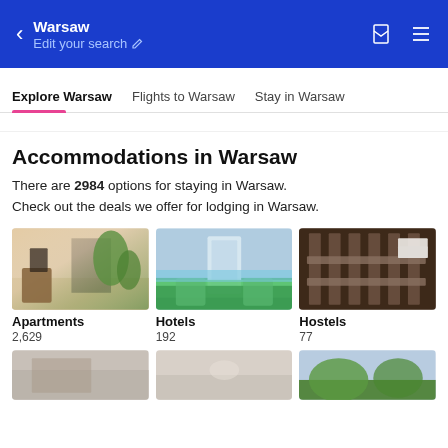Warsaw / Edit your search
Explore Warsaw | Flights to Warsaw | Stay in Warsaw
Accommodations in Warsaw
There are 2984 options for staying in Warsaw. Check out the deals we offer for lodging in Warsaw.
[Figure (photo): Apartment interior with warm lighting, fireplace, TV, and plants]
[Figure (photo): Hotel exterior with tall tower building, pool, and palm trees]
[Figure (photo): Hostel interior showing wooden bunk bed shelving]
Apartments
2,629
Hotels
192
Hostels
77
[Figure (photo): Bottom row accommodation image 1]
[Figure (photo): Bottom row accommodation image 2]
[Figure (photo): Bottom row accommodation image 3 - mountain landscape]